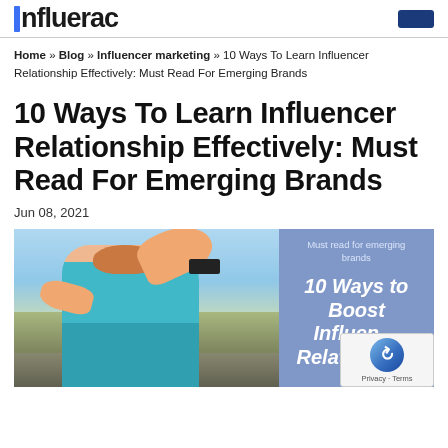influae
Home » Blog » Influencer marketing » 10 Ways To Learn Influencer Relationship Effectively: Must Read For Emerging Brands
10 Ways To Learn Influencer Relationship Effectively: Must Read For Emerging Brands
Jun 08, 2021
[Figure (photo): Left: photo of a woman runner in a teal sports bra raising her hand with a smartwatch, outdoors on a road with scenic background. Right: blue-tinted graphic panel with text 'Must read for emerging brands' and '10 Ways to Boost Influencer Relationship' in bold italic white. Bottom right: reCAPTCHA widget overlay with 'Privacy · Terms'.]